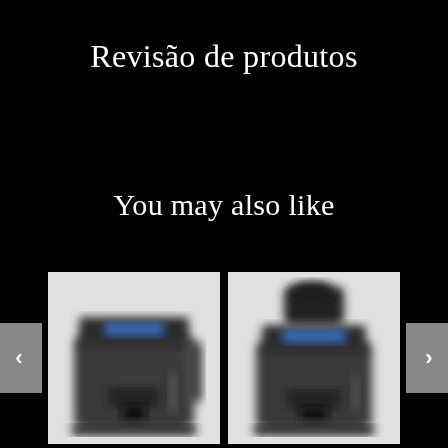Revisão de produtos
You may also like
[Figure (photo): Blurry photo of a black espresso machine (left product card)]
[Figure (photo): Blurry photo of a black espresso machine with grinder (right product card)]